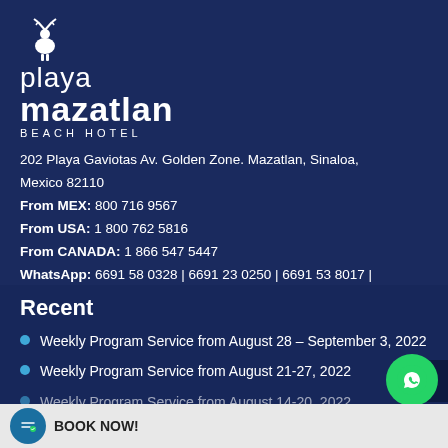[Figure (logo): Playa Mazatlan Beach Hotel logo with deer silhouette icon]
202 Playa Gaviotas Av. Golden Zone. Mazatlan, Sinaloa, Mexico 82110
From MEX: 800 716 9567
From USA: 1 800 762 5816
From CANADA: 1 866 547 5447
WhatsApp: 6691 58 0328 | 6691 23 0250 | 6691 53 8017 | 6691 46 4058 | 6691 54 7315
Recent
Weekly Program Service from August 28 – September 3, 2022
Weekly Program Service from August 21-27, 2022
Weekly Program Service from August 14-20, 2022
Weekly Program Service from August 7-13, 2022